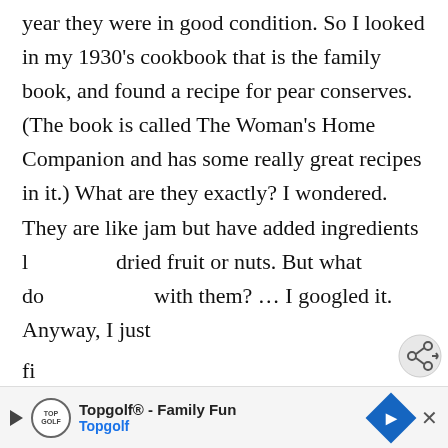year they were in good condition. So I looked in my 1930's cookbook that is the family book, and found a recipe for pear conserves. (The book is called The Woman's Home Companion and has some really great recipes in it.) What are they exactly? I wondered. They are like jam but have added ingredients like dried fruit or nuts. But what do you do with them? … I googled it. Anyway, I just
[Figure (other): Share button icon (circular button with share/network icon)]
[Figure (other): What's Next card showing a thumbnail of green vegetables with text 'WHAT'S NEXT → Cold Hardy Vegetables f...']
fi
[Figure (other): Advertisement banner for Topgolf® - Family Fun, Topgolf with logo, blue diamond navigation arrow, and close X button]